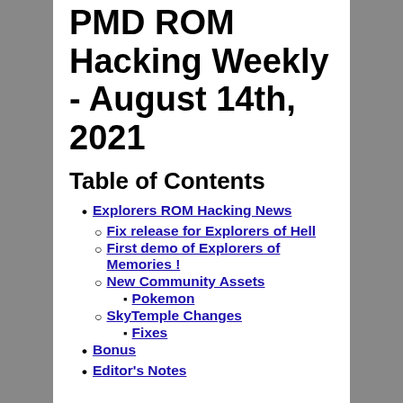PMD ROM Hacking Weekly - August 14th, 2021
Table of Contents
Explorers ROM Hacking News
Fix release for Explorers of Hell
First demo of Explorers of Memories !
New Community Assets
Pokemon
SkyTemple Changes
Fixes
Bonus
Editor's Notes